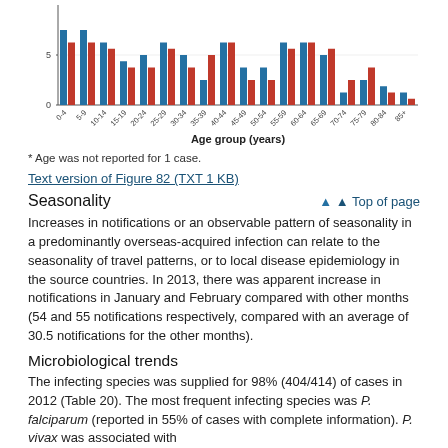[Figure (grouped-bar-chart): ]
* Age was not reported for 1 case.
Text version of Figure 82 (TXT 1 KB)
Seasonality
Top of page
Increases in notifications or an observable pattern of seasonality in a predominantly overseas-acquired infection can relate to the seasonality of travel patterns, or to local disease epidemiology in the source countries. In 2013, there was apparent increase in notifications in January and February compared with other months (54 and 55 notifications respectively, compared with an average of 30.5 notifications for the other months).
Microbiological trends
The infecting species was supplied for 98% (404/414) of cases in 2012 (Table 20). The most frequent infecting species was P. falciparum (reported in 55% of cases with complete information). P. vivax was associated with